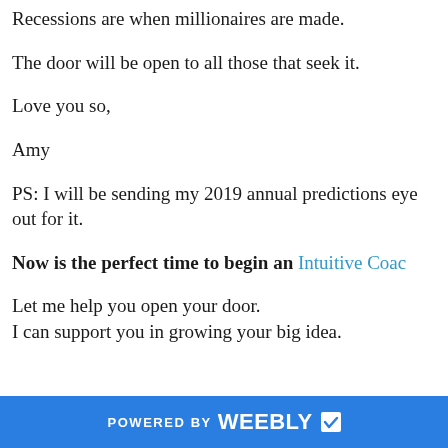Recessions are when millionaires are made.
The door will be open to all those that seek it.
Love you so,
Amy
PS: I will be sending my 2019 annual predictions eye out for it.
Now is the perfect time to begin an Intuitive Coac…
Let me help you open your door.
I can support you in growing your big idea.
POWERED BY weebly